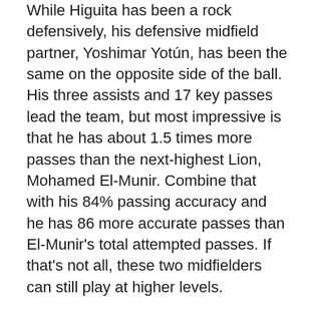While Higuita has been a rock defensively, his defensive midfield partner, Yoshimar Yotún, has been the same on the opposite side of the ball. His three assists and 17 key passes lead the team, but most impressive is that he has about 1.5 times more passes than the next-highest Lion, Mohamed El-Munir. Combine that with his 84% passing accuracy and he has 86 more accurate passes than El-Munir's total attempted passes. If that's not all, these two midfielders can still play at higher levels.
So where does that leave Rosell? As of right now, on the bench, and for Kreis that is an excellent problem to have. Uri could go to most MLS teams and be an instant starter, but because of how well Higuita and Yoshi are playing, the Spaniard has to come off the bench for Orlando.